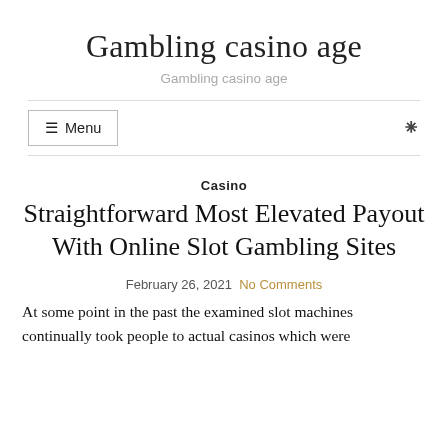Gambling casino age
Gambling casino age
☰ Menu
Casino
Straightforward Most Elevated Payout With Online Slot Gambling Sites
February 26, 2021  No Comments
At some point in the past the examined slot machines continually took people to actual casinos which were